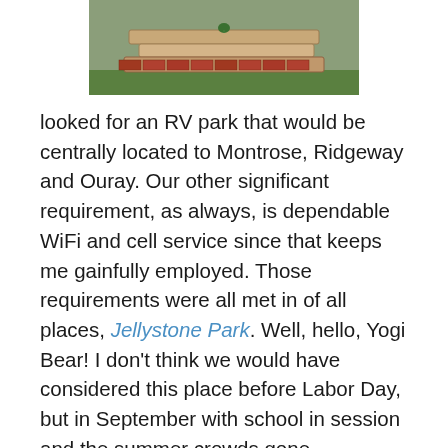[Figure (photo): Top photo showing stacked flat stones/flagstones with reddish-brick border edging and green grass or plant at top]
looked for an RV park that would be centrally located to Montrose, Ridgeway and Ouray. Our other significant requirement, as always, is dependable WiFi and cell service since that keeps me gainfully employed. Those requirements were all met in of all places, Jellystone Park. Well, hello, Yogi Bear! I don't think we would have considered this place before Labor Day, but in September with school in session and the summer crowds gone, Jellystone is working out for us just fine. It is located between Montrose and Ridgeway, the sites are large and the place is very quiet since it is mostly empty. Even Yogi and Boo Boo are apparently hibernating.
[Figure (photo): Bottom photo partially visible showing warm orange/red tones, appears to be another campground or landscape photo]